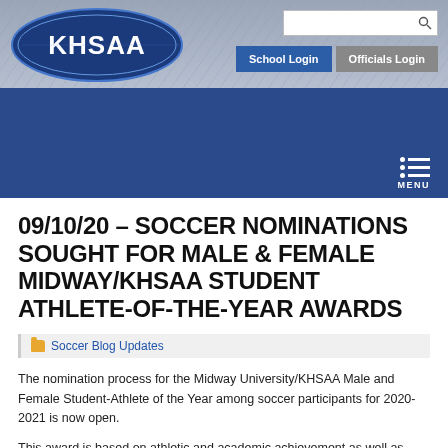[Figure (logo): KHSAA logo with oval blue background and sport silhouettes banner header with School Login and Officials Login buttons and search bar]
MENU
09/10/20 – SOCCER NOMINATIONS SOUGHT FOR MALE & FEMALE MIDWAY/KHSAA STUDENT ATHLETE-OF-THE-YEAR AWARDS
Soccer Blog Updates
The nomination process for the Midway University/KHSAA Male and Female Student-Athlete of the Year among soccer participants for 2020-2021 is now open.
This award is based on athletic and academic achievement as well as community service and leadership. The link to the application contains additional criteria and a form to nominate one participant from each 2020-2021 team. Nominations must come from a member school, but can be submitted by an administrator, guidance counselor, or coach. Nominations may only be submitted